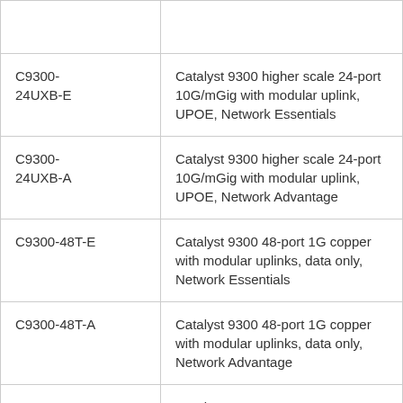| Model | Description |
| --- | --- |
| C9300-24UXB-E | Catalyst 9300 higher scale 24-port 10G/mGig with modular uplink, UPOE, Network Essentials |
| C9300-24UXB-A | Catalyst 9300 higher scale 24-port 10G/mGig with modular uplink, UPOE, Network Advantage |
| C9300-48T-E | Catalyst 9300 48-port 1G copper with modular uplinks, data only, Network Essentials |
| C9300-48T-A | Catalyst 9300 48-port 1G copper with modular uplinks, data only, Network Advantage |
| C9300-48P-E | Catalyst 9300 48-port 1G copper with modular uplinks, PoE+, Network Essentials |
| C9300-48P-A | Catalyst 9300 48-port 1G copper with modular uplinks, PoE+, Network Advantage |
| C9300-48U... | Catalyst 9300 48-port 1G copper with modular... |